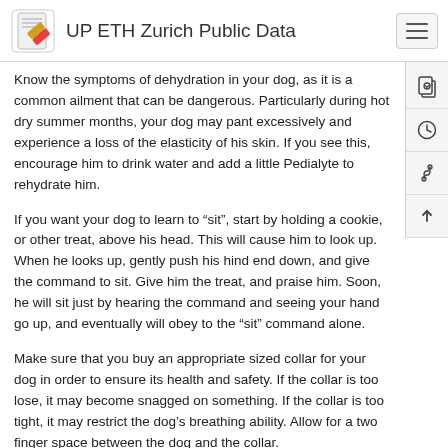UP ETH Zurich Public Data
Know the symptoms of dehydration in your dog, as it is a common ailment that can be dangerous. Particularly during hot dry summer months, your dog may pant excessively and experience a loss of the elasticity of his skin. If you see this, encourage him to drink water and add a little Pedialyte to rehydrate him.
If you want your dog to learn to “sit”, start by holding a cookie, or other treat, above his head. This will cause him to look up. When he looks up, gently push his hind end down, and give the command to sit. Give him the treat, and praise him. Soon, he will sit just by hearing the command and seeing your hand go up, and eventually will obey to the “sit” command alone.
Make sure that you buy an appropriate sized collar for your dog in order to ensure its health and safety. If the collar is too lose, it may become snagged on something. If the collar is too tight, it may restrict the dog’s breathing ability. Allow for a two finger space between the dog and the collar.